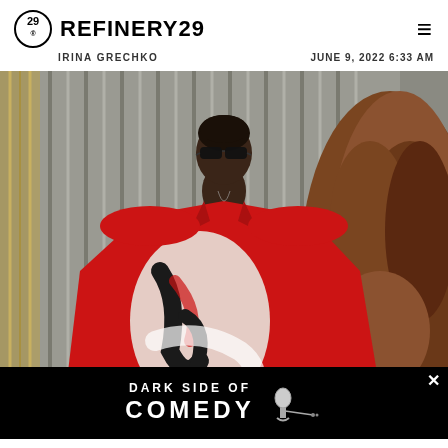REFINERY29
IRINA GRECHKO   JUNE 9, 2022 6:33 AM
[Figure (photo): Fashion model wearing an oversized red blazer with abstract black and white graphic print, black sunglasses, standing in front of a metallic corrugated wall and a large pile of brown wood chips/mulch]
DARK SIDE OF COMEDY